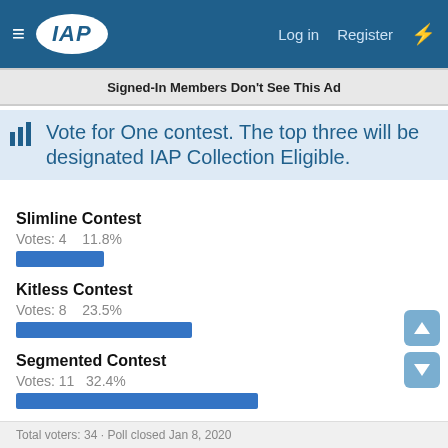IAP  Log in  Register
Signed-In Members Don't See This Ad
Vote for One contest. The top three will be designated IAP Collection Eligible.
Slimline Contest
Votes: 4    11.8%
Kitless Contest
Votes: 8    23.5%
Segmented Contest
Votes: 11    32.4%
Pretty Wood Contest
Votes: 11    32.4%
[Figure (bar-chart): Poll results]
Total voters: 34 · Poll closed Jan 8, 2020